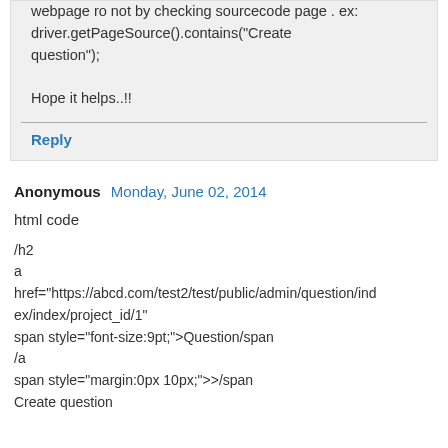You can check whether text is present on the webpage ro not by checking sourcecode page . ex:
driver.getPageSource().contains("Create question");

Hope it helps..!!
Reply
Anonymous  Monday, June 02, 2014
html code

/h2
a
href="https://abcd.com/test2/test/public/admin/question/index/index/project_id/1"
span style="font-size:9pt;">Question/span
/a
span style="margin:0px 10px;">>/span
Create question